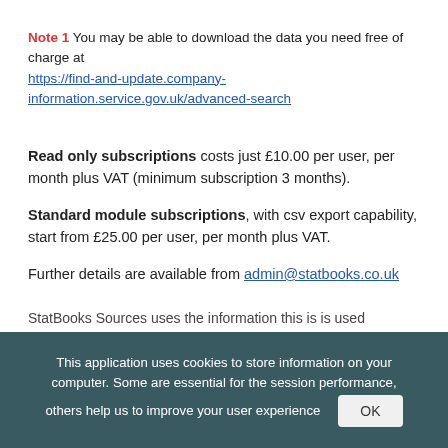Note 1  You may be able to download the data you need free of charge at https://find-and-update.company-information.service.gov.uk/advanced-search
Read only subscriptions costs just £10.00 per user, per month plus VAT (minimum subscription 3 months).

Standard module subscriptions, with csv export capability, start from £25.00 per user, per month plus VAT.

Further details are available from admin@statbooks.co.uk
StatBooks Sources uses the information this is is used
This application uses cookies to store information on your computer. Some are essential for the session performance, others help us to improve your user experience